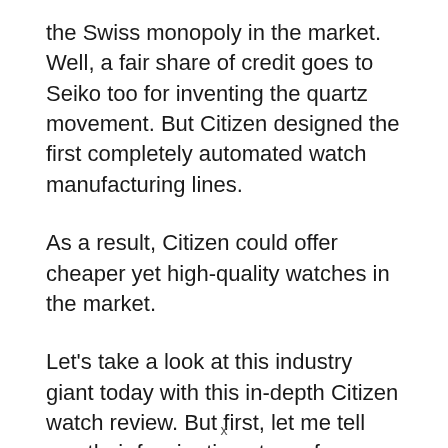the Swiss monopoly in the market. Well, a fair share of credit goes to Seiko too for inventing the quartz movement. But Citizen designed the first completely automated watch manufacturing lines.
As a result, Citizen could offer cheaper yet high-quality watches in the market.
Let's take a look at this industry giant today with this in-depth Citizen watch review. But first, let me tell you their fascinating story of success.
x